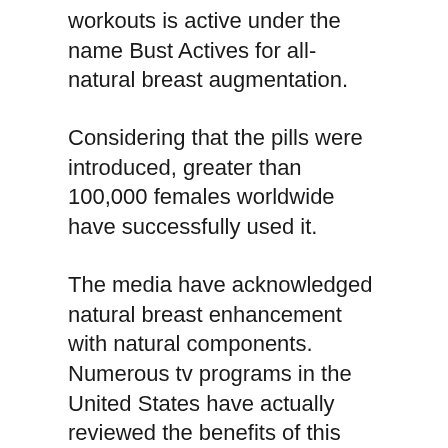workouts is active under the name Bust Actives for all-natural breast augmentation.
Considering that the pills were introduced, greater than 100,000 females worldwide have successfully used it.
The media have acknowledged natural breast enhancement with natural components. Numerous tv programs in the United States have actually reviewed the benefits of this method.
The Williams Show Montel
CNN Headline News
NBC Dateline
The topic also appeared in print media such as United States Today...